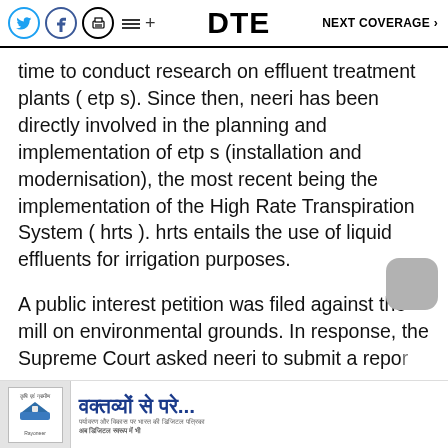DTE  NEXT COVERAGE >
time to conduct research on effluent treatment plants ( etp s). Since then, neeri has been directly involved in the planning and implementation of etp s (installation and modernisation), the most recent being the implementation of the High Rate Transpiration System ( hrts ). hrts entails the use of liquid effluents for irrigation purposes.
A public interest petition was filed against the mill on environmental grounds. In response, the Supreme Court asked neeri to submit a repo... e